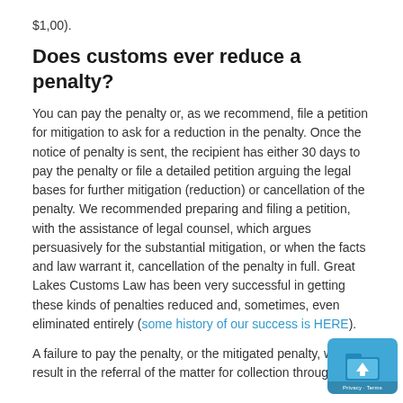$1,00).
Does customs ever reduce a penalty?
You can pay the penalty or, as we recommend, file a petition for mitigation to ask for a reduction in the penalty. Once the notice of penalty is sent, the recipient has either 30 days to pay the penalty or file a detailed petition arguing the legal bases for further mitigation (reduction) or cancellation of the penalty. We recommended preparing and filing a petition, with the assistance of legal counsel, which argues persuasively for the substantial mitigation, or when the facts and law warrant it, cancellation of the penalty in full. Great Lakes Customs Law has been very successful in getting these kinds of penalties reduced and, sometimes, even eliminated entirely (some history of our success is HERE).
A failure to pay the penalty, or the mitigated penalty, will result in the referral of the matter for collection through the